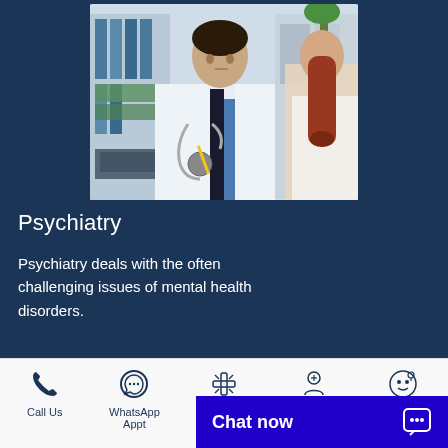[Figure (photo): Doctor in white coat with stethoscope consulting a female patient at a desk in a clinical office setting]
Psychiatry
Psychiatry deals with the often challenging issues of mental health disorders.
[Figure (photo): Partial view of a second medical consultation photo, partially visible at the bottom of the page]
Call Us | WhatsApp Appt | Make Appt | Find Doctor | Waze | Chat now